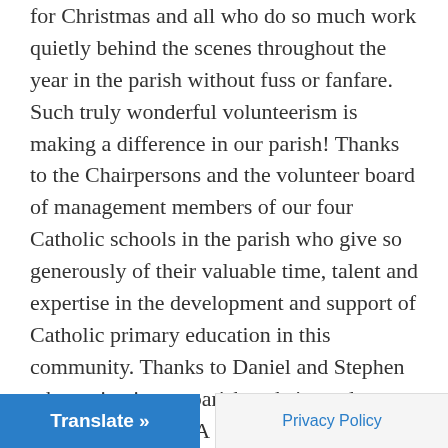for Christmas and all who do so much work quietly behind the scenes throughout the year in the parish without fuss or fanfare. Such truly wonderful volunteerism is making a difference in our parish! Thanks to the Chairpersons and the volunteer board of management members of our four Catholic schools in the parish who give so generously of their valuable time, talent and expertise in the development and support of Catholic primary education in this community. Thanks to Daniel and Stephen who maintain our parish website and webcam facilities. A special thank you to Aine for her commitment to our social media through facebook, twitter and instagram linking us with a much wider world! Thanks to all who are so involved in the many cultural, community and voluntary activities in our parish. Your leadership is s...
Translate »
Privacy Policy